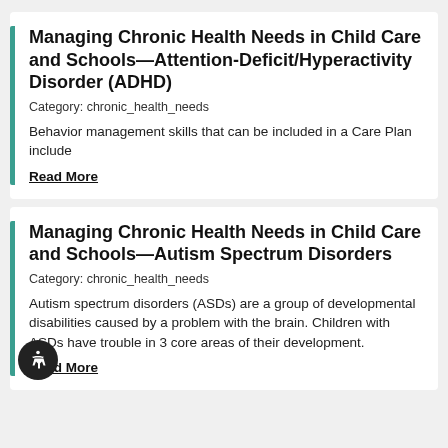Managing Chronic Health Needs in Child Care and Schools—Attention-Deficit/Hyperactivity Disorder (ADHD)
Category: chronic_health_needs
Behavior management skills that can be included in a Care Plan include
Read More
Managing Chronic Health Needs in Child Care and Schools—Autism Spectrum Disorders
Category: chronic_health_needs
Autism spectrum disorders (ASDs) are a group of developmental disabilities caused by a problem with the brain. Children with ASDs have trouble in 3 core areas of their development.
Read More